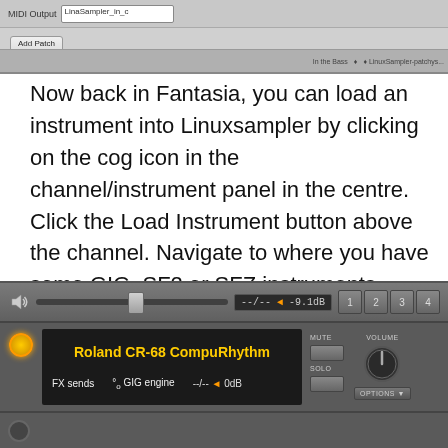[Figure (screenshot): Top portion of Fantasia/LinuxSampler GUI showing MIDI output selector with 'LinaSampler_in_c' and an 'Add Patch' button]
Now back in Fantasia, you can load an instrument into Linuxsampler by clicking on the cog icon in the channel/instrument panel in the centre. Click the Load Instrument button above the channel. Navigate to where you have some GIG, SF2 or SFZ instruments stored and load one.
[Figure (screenshot): Fantasia LinuxSampler channel strip showing Roland CR-68 CompuRhythm loaded, with volume slider at -9.1dB, GIG engine selected, FX sends, 0dB level, MUTE/SOLO buttons, volume knob, and OPTIONS button. Channel numbers 1 2 3 4 visible at top right.]